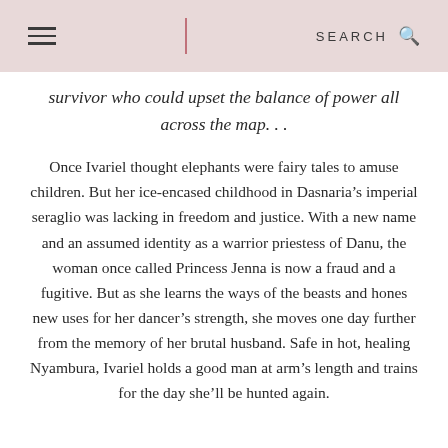SEARCH
survivor who could upset the balance of power all across the map. . .
Once Ivariel thought elephants were fairy tales to amuse children. But her ice-encased childhood in Dasnaria’s imperial seraglio was lacking in freedom and justice. With a new name and an assumed identity as a warrior priestess of Danu, the woman once called Princess Jenna is now a fraud and a fugitive. But as she learns the ways of the beasts and hones new uses for her dancer’s strength, she moves one day further from the memory of her brutal husband. Safe in hot, healing Nyambura, Ivariel holds a good man at arm’s length and trains for the day she’ll be hunted again.